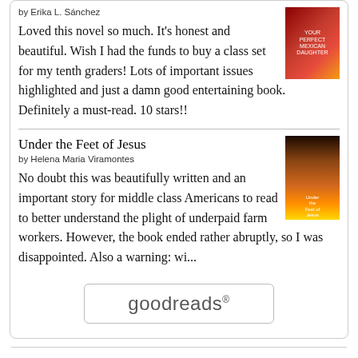by Erika L. Sánchez
Loved this novel so much. It's honest and beautiful. Wish I had the funds to buy a class set for my tenth graders! Lots of important issues highlighted and just a damn good entertaining book. Definitely a must-read. 10 stars!!
Under the Feet of Jesus
by Helena Maria Viramontes
No doubt this was beautifully written and an important story for middle class Americans to read to better understand the plight of underpaid farm workers. However, the book ended rather abruptly, so I was disappointed. Also a warning: wi...
[Figure (logo): goodreads logo button with rounded rectangle border]
Email Subscription
Enter your email address to subscribe to this blog and receive